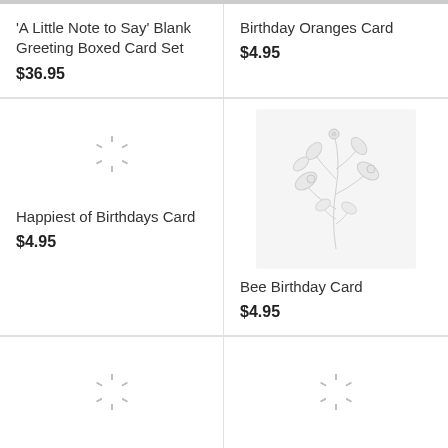'A Little Note to Say' Blank Greeting Boxed Card Set
$36.95
Birthday Oranges Card
$4.95
[Figure (illustration): Loading spinner icon for Happiest of Birthdays Card product image]
Happiest of Birthdays Card
$4.95
[Figure (illustration): Floral botanical illustration placeholder for Bee Birthday Card product image]
Bee Birthday Card
$4.95
[Figure (illustration): Loading spinner icon for A6 Spring Birthday product image]
A6 Spring Birthday
[Figure (illustration): Loading spinner icon for Birthday Rose Card product image]
Birthday Rose Card